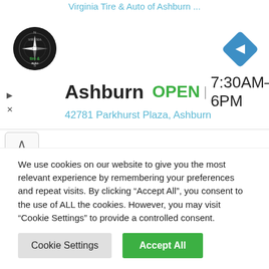Virginia Tire & Auto of Ashburn ...
[Figure (logo): Virginia Tire & Auto circular logo with compass hands graphic, black circle background]
[Figure (illustration): Blue navigation diamond/arrow icon pointing right]
Ashburn  OPEN  7:30AM–6PM
42781 Parkhurst Plaza, Ashburn
This is not strictly related to Xtext. For the targlets task, in order to specify my own features and bundles, I prefer to specify one single feature which acts as a root for all my Eclipse projects that must be imported in the workspace and that participate to the targ(l)et platform via their requirements. Remember that Oomph will resolve
We use cookies on our website to give you the most relevant experience by remembering your preferences and repeat visits. By clicking “Accept All”, you consent to the use of ALL the cookies. However, you may visit “Cookie Settings” to provide a controlled consent.